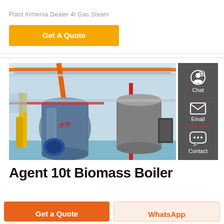Plant Armenia Dealer 4t Gas Steam
Get A Quote
[Figure (photo): Industrial boiler room with large cylindrical gas steam boilers, yellow and orange piping, red beams, blue floor, inside a factory.]
Chat
Email
Contact
Agent 10t Biomass Boiler
Get a Quote
WhatsApp